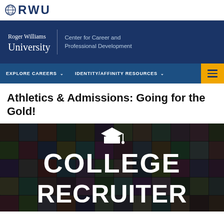RWU
[Figure (logo): Roger Williams University - Center for Career and Professional Development header banner with university name and department title on dark blue background]
EXPLORE CAREERS   IDENTITY/AFFINITY RESOURCES
Athletics & Admissions: Going for the Gold!
[Figure (photo): College Recruiter promotional image with mosaic of diverse people in background and bold white text reading COLLEGE RECRUITER with graduation cap icon above]